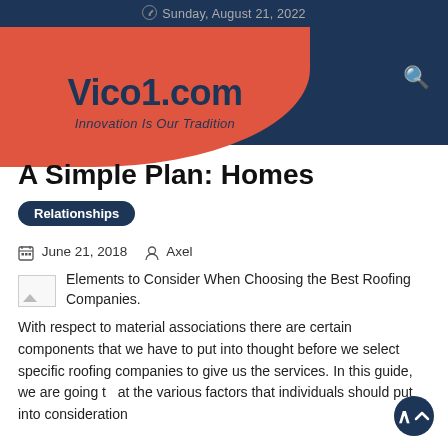Sunday, August 21, 2022
[Figure (logo): Vico1.com logo with red oval shape on dark navy background. Text: Vico1.com, Innovation Is Our Tradition]
A Simple Plan: Homes
Relationships
June 21, 2018  Axel
Elements to Consider When Choosing the Best Roofing Companies.
With respect to material associations there are certain components that we have to put into thought before we select specific roofing companies to give us the services. In this guide, we are going to at the various factors that individuals should put into consideration